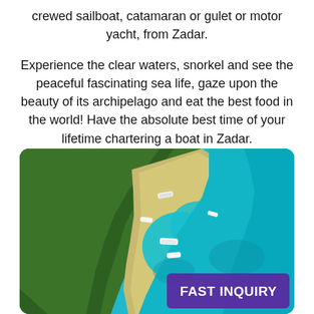crewed sailboat, catamaran or gulet or motor yacht, from Zadar.
Experience the clear waters, snorkel and see the peaceful fascinating sea life, gaze upon the beauty of its archipelago and eat the best food in the world! Have the absolute best time of your lifetime chartering a boat in Zadar.
[Figure (photo): Aerial drone photo of a rocky Croatian coastline near Zadar showing a narrow peninsula separating turquoise-green clear waters, with several white boats anchored in the inlet, surrounded by dense green forest. A purple 'FAST INQUIRY' button overlay is in the bottom right corner.]